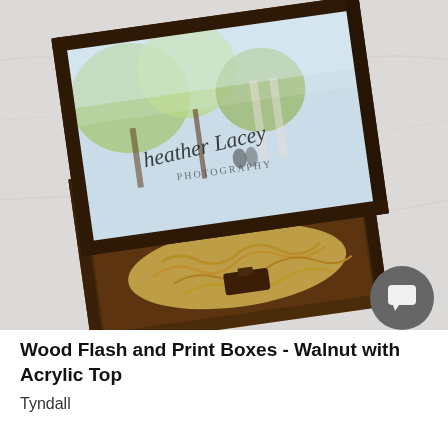[Figure (photo): Two dark walnut wood boxes with acrylic/glass lid on one, photographed on a white marble surface. The lid box has a photography business card (Heather Lacey Photography) visible through the acrylic top. The open box contains straw packing material and a USB drive wrapped in straw.]
Wood Flash and Print Boxes - Walnut with Acrylic Top
Tyndall